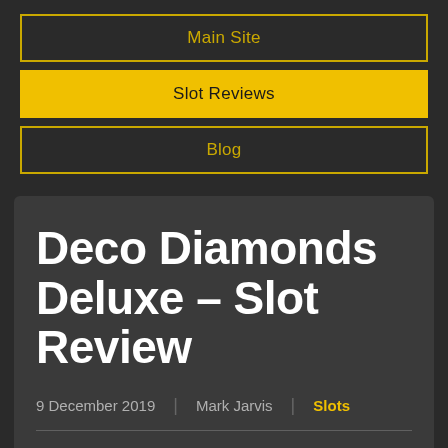Main Site
Slot Reviews
Blog
Deco Diamonds Deluxe – Slot Review
9 December 2019 | Mark Jarvis | Slots
Released just last month, JustForTheWin's 'Deco Diamonds Deluxe' slot is the long-awaited sequel to